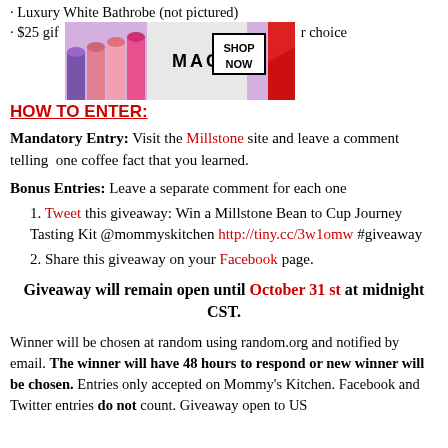· Luxury White Bathrobe (not pictured)
· $25 gift [ad] r choice
[Figure (photo): MAC cosmetics advertisement banner showing lipsticks in purple, pink, and red with MAC logo and SHOP NOW button]
HOW TO ENTER:
Mandatory Entry: Visit the Millstone site and leave a comment telling one coffee fact that you learned.
Bonus Entries: Leave a separate comment for each one
1. Tweet this giveaway: Win a Millstone Bean to Cup Journey Tasting Kit @mommyskitchen http://tiny.cc/3w1omw #giveaway
2. Share this giveaway on your Facebook page.
Giveaway will remain open until October 31 st at midnight CST.
Winner will be chosen at random using random.org and notified by email. The winner will have 48 hours to respond or new winner will be chosen. Entries only accepted on Mommy's Kitchen. Facebook and Twitter entries do not count. Giveaway open to US